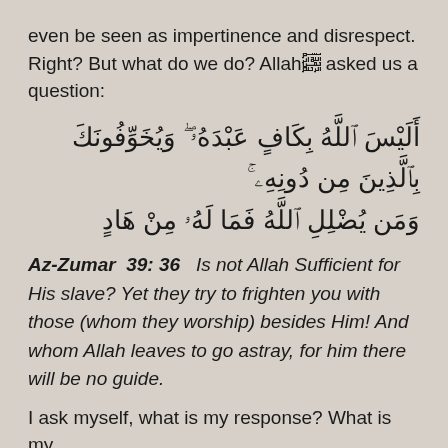even be seen as impertinence and disrespect. Right? But what do we do? Allah﷽ asked us a question:
أَلَيْسَ ٱللَّهُ بِكَافٍ عَبْدَهُۥ ۖ وَيُخَوِّفُونَكَ بِٱلَّذِينَ مِن دُونِهِۦ ۚ وَمَن يُضْلِلِ ٱللَّهُ فَمَا لَهُۥ مِنْ هَادٍ
Az-Zumar  39: 36   Is not Allah Sufficient for His slave? Yet they try to frighten you with those (whom they worship) besides Him! And whom Allah leaves to go astray, for him there will be no guide.
I ask myself, what is my response? What is my